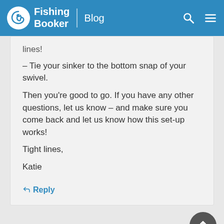Fishing Booker | Blog
lines!
– Tie your sinker to the bottom snap of your swivel.
Then you're good to go. If you have any other questions, let us know – and make sure you come back and let us know how this set-up works!
Tight lines,
Katie
Reply
Ron